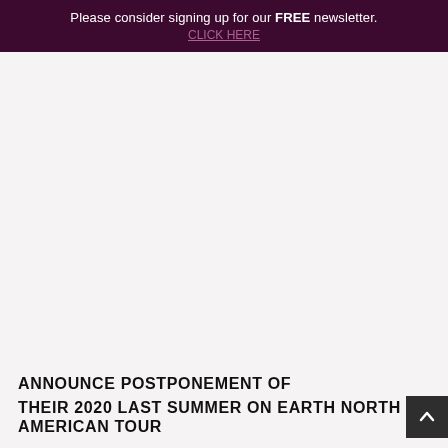Please consider signing up for our FREE newsletter. CLICK HERE
ANNOUNCE POSTPONEMENT OF THEIR 2020 LAST SUMMER ON EARTH NORTH AMERICAN TOUR